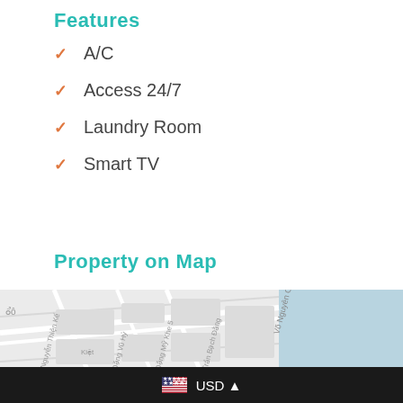Features
A/C
Access 24/7
Laundry Room
Smart TV
Property on Map
[Figure (map): Google Map showing street map of a location in Vietnam with Map/Satellite toggle buttons, street names in Vietnamese (Võ Nguyên Giáp, Nguyễn Thiện Kế, Đặng Vũ Hỷ, Đặng Mỹ Khe 5, Trần Bạch Đằng), and a reCAPTCHA widget overlay.]
USD ▲